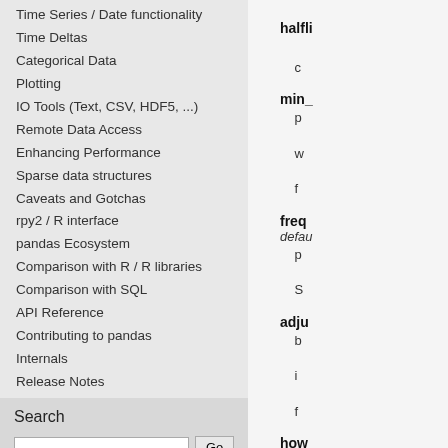Time Series / Date functionality
Time Deltas
Categorical Data
Plotting
IO Tools (Text, CSV, HDF5, ...)
Remote Data Access
Enhancing Performance
Sparse data structures
Caveats and Gotchas
rpy2 / R interface
pandas Ecosystem
Comparison with R / R libraries
Comparison with SQL
API Reference
Contributing to pandas
Internals
Release Notes
Search
Enter search terms or a module, class or function name.
halfli
min_
freq
default
adju
how
igno